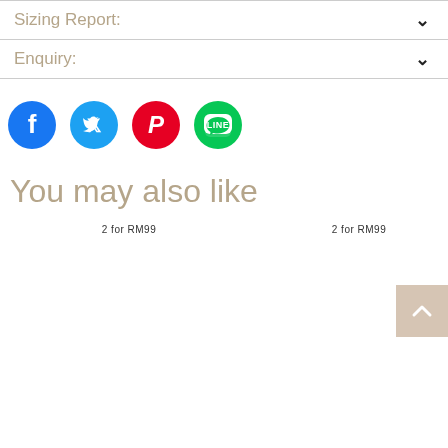Sizing Report:
Enquiry:
[Figure (other): Social media share icons: Facebook (blue circle), Twitter (blue circle), Pinterest (red circle), LINE (green circle)]
You may also like
2 for RM99
2 for RM99
[Figure (other): Scroll to top button with upward chevron arrow, beige/tan background, positioned at bottom right]